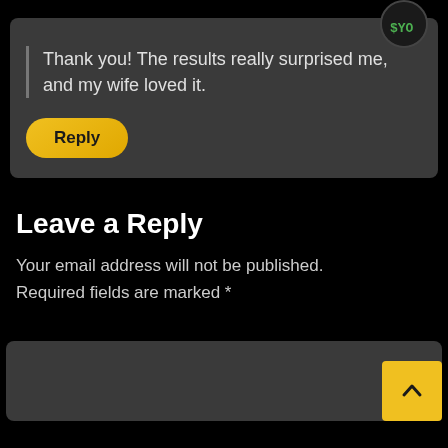Thank you! The results really surprised me, and my wife loved it.
Reply
Leave a Reply
Your email address will not be published. Required fields are marked *
[Figure (screenshot): Comment reply text area input box with a yellow scroll-to-top button in the bottom right corner]